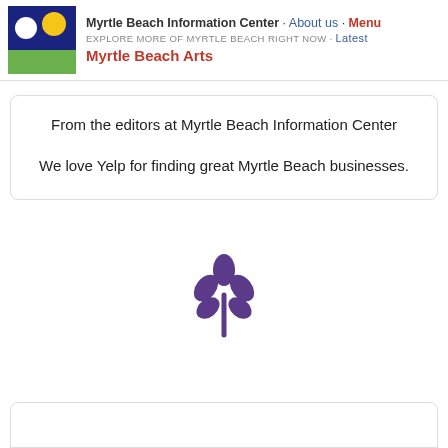Myrtle Beach Information Center · About us · Menu
EXPLORE MORE OF MYRTLE BEACH RIGHT NOW · Latest
Myrtle Beach Arts
From the editors at Myrtle Beach Information Center
We love Yelp for finding great Myrtle Beach businesses.
[Figure (logo): Purple Yelp leaf/sprout logo icon]